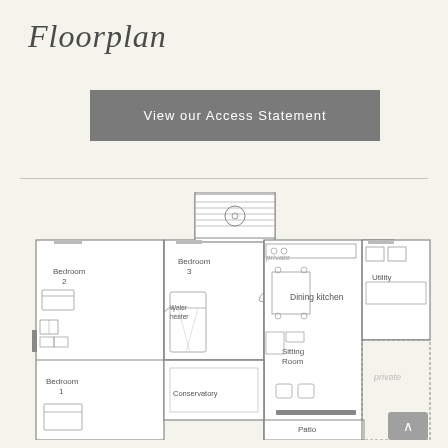Floorplan
View our Access Statement
[Figure (schematic): Architectural floorplan showing Bedroom 1, Bedroom 2, Bedroom 3, Dining kitchen, Sitting Room, Utility, Conservatory, Patio, Water heater, and a private area. The plan shows room layouts with furniture symbols drawn in outline style.]